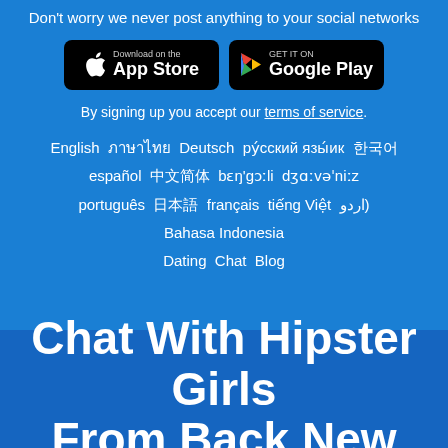Don't worry we never post anything to your social networks
[Figure (screenshot): App Store and Google Play download buttons on black rounded rectangle backgrounds]
By signing up you accept our terms of service.
English  ภาษาไทย  Deutsch  ру́сский язы́ик  한국어
español  中文简体  bɛŋ'gɔːli  dʒɑːvəˈniːz
português  日本語  français  tiếng Việt  اردو)
Bahasa Indonesia
Dating  Chat  Blog
Chat With Hipster Girls From Back New